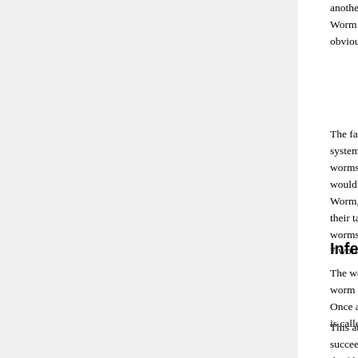another worm, the worms would exchange two p Worm would transmit a random number to the o obviously, tells the worm to stop running) in the l
The failure of the other_sleep function was what systems to attack, as well as going as far as tes worms had infected a computer at once, they wo would also all attempt to become listeners, and c Worm, and the running Worm looses in the deci their tasks. If a machine was heavily loaded (not worms tried to listen for or send numbers, and w 7 worms perform the neccessary check for the c
Infection
The worm's Infect routine first determines wheth worm on the target system, if the worm has mac Once a legitimate target is found, the worm calls is called try_rsh.
This attack method operates by creating a duplic succeeds in its task, it returns the file descriptors the file descriptors are closed, the child process
The try_fingerd attack method exploits a vulnera